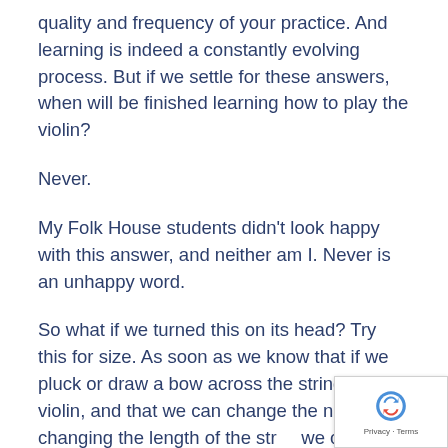quality and frequency of your practice. And learning is indeed a constantly evolving process. But if we settle for these answers, when will be finished learning how to play the violin?
Never.
My Folk House students didn't look happy with this answer, and neither am I. Never is an unhappy word.
So what if we turned this on its head? Try this for size. As soon as we know that if we pluck or draw a bow across the string of the violin, and that we can change the note by changing the length of the string we can play the violin. Everything else is refinement.